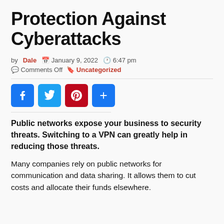Protection Against Cyberattacks
by Dale  January 9, 2022  6:47 pm
Comments Off  Uncategorized
[Figure (other): Social sharing buttons: Facebook, Twitter, Pinterest, Plus]
Public networks expose your business to security threats. Switching to a VPN can greatly help in reducing those threats.
Many companies rely on public networks for communication and data sharing. It allows them to cut costs and allocate their funds elsewhere.